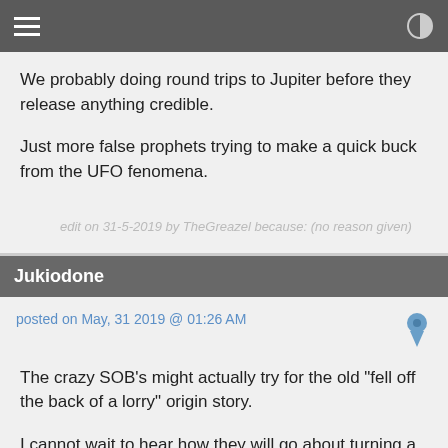We probably doing round trips to Jupiter before they release anything credible.

Just more false prophets trying to make a quick buck from the UFO fenomena.
edit on 31-5-2019 by TheGreazel because: (no reason given)
Jukiodone
posted on May, 31 2019 @ 01:26 AM
The crazy SOB's might actually try for the old "fell off the back of a lorry" origin story.

I cannot wait to hear how they will go about turning a lab observation on an anomalous sample into a space ship.